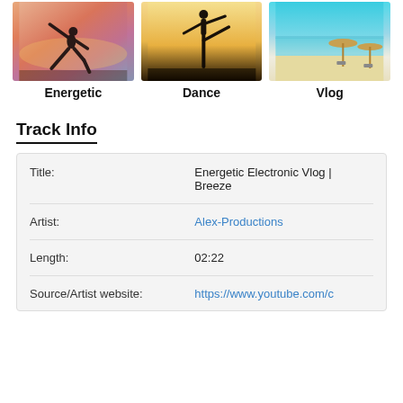[Figure (photo): Three photos in a row: a yoga/exercise silhouette at sunset, a ballet dancer silhouette, and a beach scene with umbrellas]
Energetic
Dance
Vlog
Track Info
| Field | Value |
| --- | --- |
| Title: | Energetic Electronic Vlog | Breeze |
| Artist: | Alex-Productions |
| Length: | 02:22 |
| Source/Artist website: | https://www.youtube.com/c |